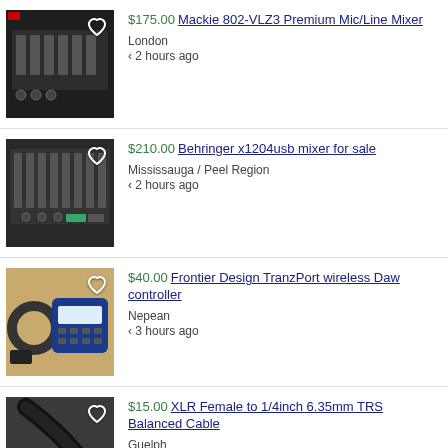$175.00 Mackie 802-VLZ3 Premium Mic/Line Mixer | London | < 2 hours ago
$210.00 Behringer x1204usb mixer for sale | Mississauga / Peel Region | < 2 hours ago
$40.00 Frontier Design TranzPort wireless Daw controller | Nepean | < 3 hours ago
$15.00 XLR Female to 1/4inch 6.35mm TRS Balanced Cable | Guelph | < 3 hours ago